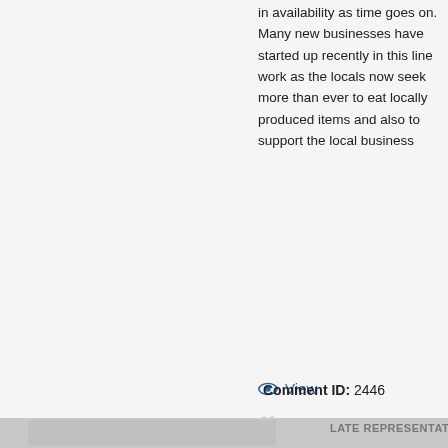in availability as time goes on. Many new businesses have started up recently in this line work as the locals now seek more than ever to eat locally produced items and also to support the local business
View
L P Card
13 Aug 2012
Proposed Submission Local Pla...
Yeovil - Vision and Proposals
What should the Local Plan del...
Yeovil Sustainable Urban Exter...
Future Masterplanning
Future Masterplanning and Poli...
Comment ID: 2446
LATE REPRESENTATION T...